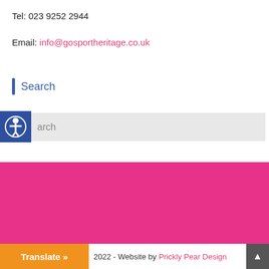Tel: 023 9252 2944
Email: info@gosportheritage.co.uk
Search
[Figure (other): Accessibility icon button (blue circle with person figure) overlapping a grey search input bar with placeholder text 'arch']
[Figure (other): Large pink/magenta solid color footer background area]
2022 - Website by Prickly Pear Design
[Figure (other): Orange 'Translate »' button in bottom left corner]
[Figure (other): Dark grey 'scroll to top' button with upward arrow in bottom right corner]